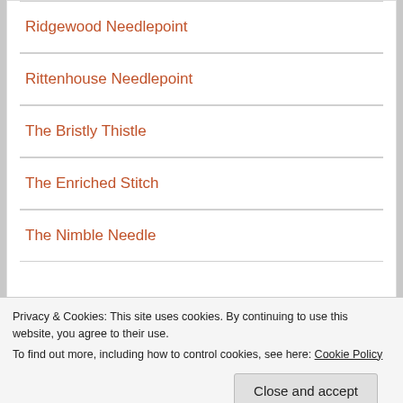Ridgewood Needlepoint
Rittenhouse Needlepoint
The Bristly Thistle
The Enriched Stitch
The Nimble Needle
Privacy & Cookies: This site uses cookies. By continuing to use this website, you agree to their use.
To find out more, including how to control cookies, see here: Cookie Policy
Close and accept
Copyright 2001-2018 Napa Needlepoint. All rights reserved.